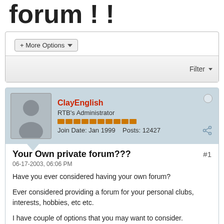forum ! !
+ More Options
Filter
ClayEnglish
RTB's Administrator
Join Date: Jan 1999  Posts: 12427
Your Own private forum???
06-17-2003, 06:06 PM
Have you ever considered having your own forum?

Ever considered providing a forum for your personal clubs, interests, hobbies, etc etc.

I have couple of options that you may want to consider.